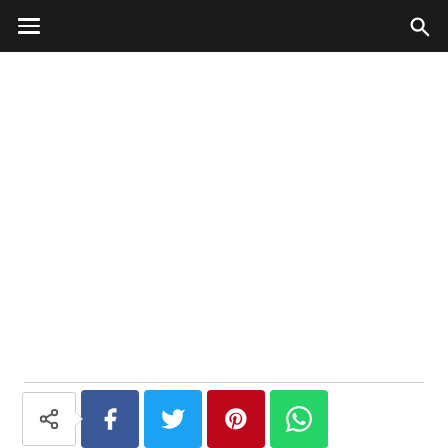Navigation bar with hamburger menu and search icon
[Figure (screenshot): White content area placeholder]
[Figure (infographic): Social share bar with share icon, Facebook, Twitter, Pinterest, and WhatsApp buttons]